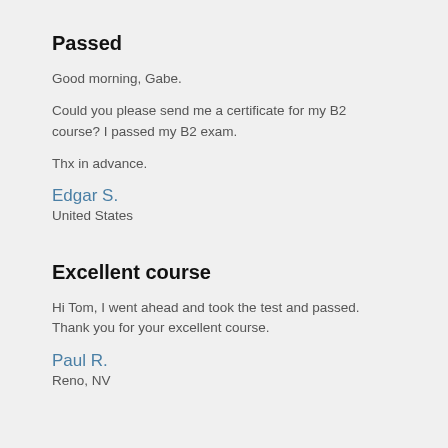Passed
Good morning, Gabe.
Could you please send me a certificate for my B2 course? I passed my B2 exam.
Thx in advance.
Edgar S.
United States
Excellent course
Hi Tom, I went ahead and took the test and passed. Thank you for your excellent course.
Paul R.
Reno, NV